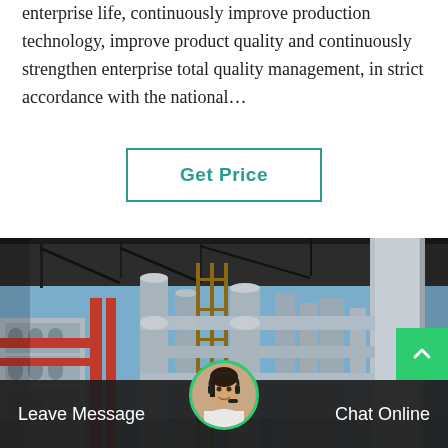enterprise life, continuously improve production technology, improve product quality and continuously strengthen enterprise total quality management, in strict accordance with the national…
[Figure (other): Button with teal border and text 'Get Price']
[Figure (photo): Industrial facility photo showing large pipes, columns, scaffolding, and industrial equipment under a steel roof structure with blue sky visible]
Leave Message
Chat Online